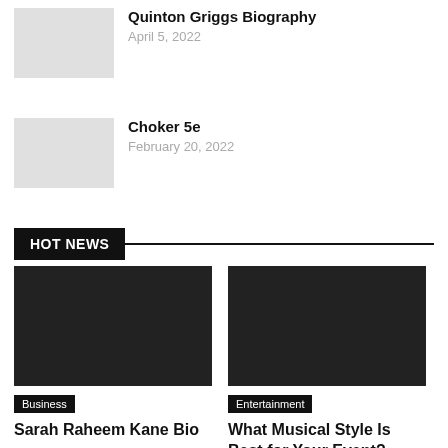Quinton Griggs Biography
April 5, 2022
Choker 5e
February 20, 2022
HOT NEWS
Business
Sarah Raheem Kane Bio
Entertainment
What Musical Style Is Best for Your Event?